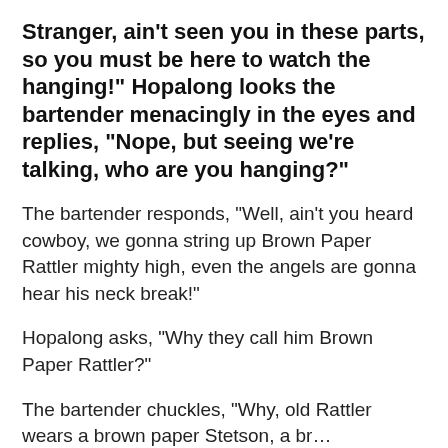Stranger, ain't seen you in these parts, so you must be here to watch the hanging!" Hopalong looks the bartender menacingly in the eyes and replies, "Nope, but seeing we're talking, who are you hanging?"
The bartender responds, "Well, ain't you heard cowboy, we gonna string up Brown Paper Rattler mighty high, even the angels are gonna hear his neck break!"
Hopalong asks, "Why they call him Brown Paper Rattler?"
The bartender chuckles, "Why, old Rattler wears a brown paper Stetson, a br… [read more]
UPVOTE  DOWNVOTE  REPORT
Related Categories
rattlesnake
rattle